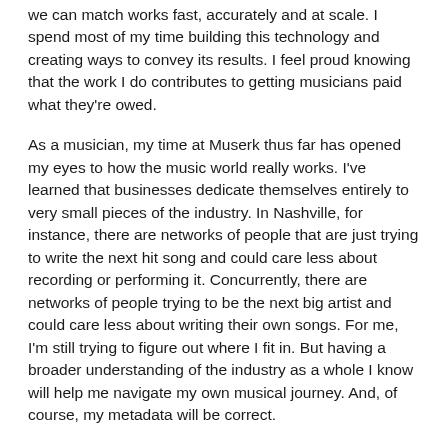we can match works fast, accurately and at scale. I spend most of my time building this technology and creating ways to convey its results. I feel proud knowing that the work I do contributes to getting musicians paid what they're owed.
As a musician, my time at Muserk thus far has opened my eyes to how the music world really works. I've learned that businesses dedicate themselves entirely to very small pieces of the industry. In Nashville, for instance, there are networks of people that are just trying to write the next hit song and could care less about recording or performing it. Concurrently, there are networks of people trying to be the next big artist and could care less about writing their own songs. For me, I'm still trying to figure out where I fit in. But having a broader understanding of the industry as a whole I know will help me navigate my own musical journey. And, of course, my metadata will be correct.